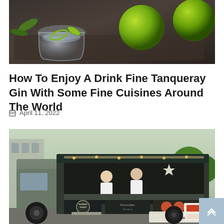[Figure (photo): A gin and tonic drink in a stemless glass with lime slices, with two whole limes on a dark wooden board in the background]
How To Enjoy A Drink Fine Tanqueray Gin With Some Fine Cuisines Around The World
April 11, 2022
[Figure (photo): A food truck branded 'Rubber Tramp' with two men serving food, with menus and signage visible, parked outdoors]